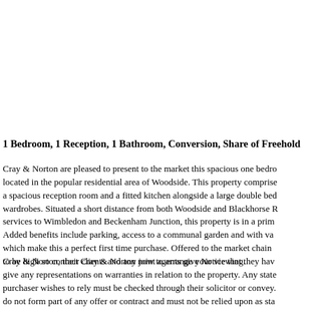1 Bedroom, 1 Reception, 1 Bathroom, Conversion, Share of Freehold
Cray & Norton are pleased to present to the market this spacious one bedroom flat located in the popular residential area of Woodside. This property comprises a spacious reception room and a fitted kitchen alongside a large double bedroom with wardrobes. Situated a short distance from both Woodside and Blackhorse Road tram services to Wimbledon and Beckenham Junction, this property is in a prime location. Added benefits include parking, access to a communal garden and with various features which make this a perfect first time purchase. Offered to the market chain and interest is expected to be high so contact Cray & Norton now to arrange your viewing.
Cray & Norton, their clients and any joint agents give Notice that they have no authority to give any representations on warranties in relation to the property. Any statements made by the purchaser wishes to rely must be checked through their solicitor or conveyancer. These details do not form part of any offer or contract and must not be relied upon as statements or representations of fact.